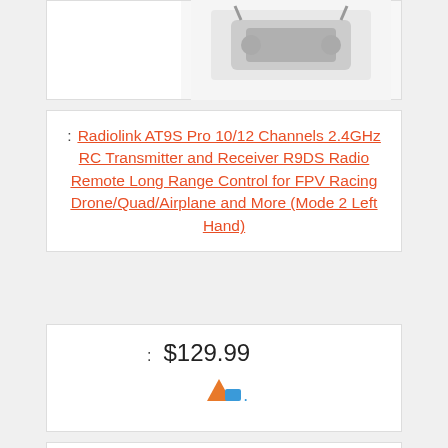[Figure (screenshot): Top portion of a product card row showing a colon label on the left and a partial product image (RC transmitter) on the right]
: Radiolink AT9S Pro 10/12 Channels 2.4GHz RC Transmitter and Receiver R9DS Radio Remote Long Range Control for FPV Racing Drone/Quad/Airplane and More (Mode 2 Left Hand)
: $129.99
[Figure (logo): Amazon seller/brand logo in blue and orange]
: Buy On Amazon
: 6
[Figure (photo): RC transmitter/controller device photographed from above on white background]